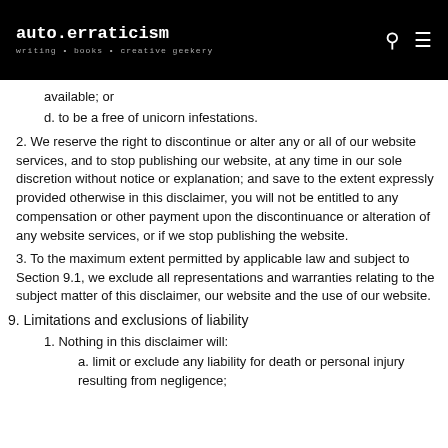auto.erraticism writing • books • creative geekery
available; or
d. to be a free of unicorn infestations.
2. We reserve the right to discontinue or alter any or all of our website services, and to stop publishing our website, at any time in our sole discretion without notice or explanation; and save to the extent expressly provided otherwise in this disclaimer, you will not be entitled to any compensation or other payment upon the discontinuance or alteration of any website services, or if we stop publishing the website.
3. To the maximum extent permitted by applicable law and subject to Section 9.1, we exclude all representations and warranties relating to the subject matter of this disclaimer, our website and the use of our website.
9. Limitations and exclusions of liability
1. Nothing in this disclaimer will:
a. limit or exclude any liability for death or personal injury resulting from negligence;